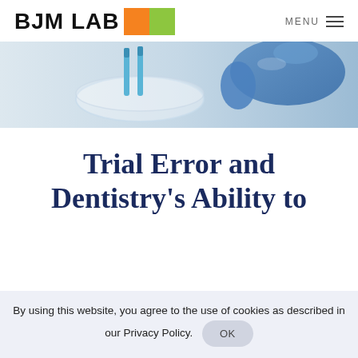BJM LAB MENU
[Figure (photo): Laboratory scene: glass petri dish with blue pipettes and a gloved hand in blue latex glove, light grey background]
Trial Error and Dentistry's Ability to
By using this website, you agree to the use of cookies as described in our Privacy Policy. OK